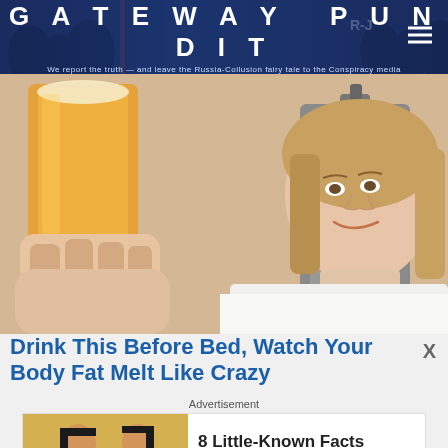GATEWAY PUNDIT — We report the truth — and leave the Russia-Collusion fairy tale to the Conspiracy media
[Figure (photo): Woman smiling and holding up a large glass of amber beer near a tap/keg dispenser]
Drink This Before Bed, Watch Your Body Fat Melt Like Crazy
Advertisement
[Figure (photo): Ancient Egyptian painting/illustration of two Egyptian figures]
8 Little-Known Facts About Ancient Egypt That Will Puzzle You
Brainberries